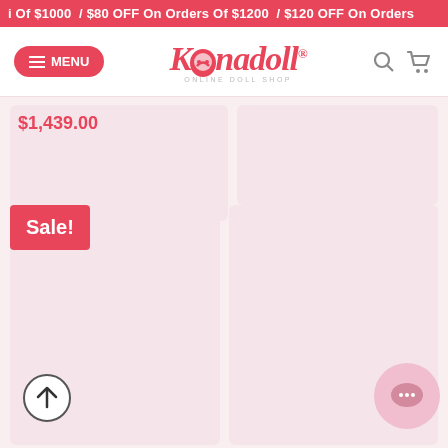i Of $1000  / $80 OFF On Orders Of $1200  / $120 OFF On Orders
[Figure (logo): Konadoll Online Doll Shop logo with MENU button, search icon, and cart icon navigation bar]
$1,439.00
Sale!
[Figure (other): Two product card placeholders with pink background, one with Sale! badge]
[Figure (other): Scroll to top circular arrow button]
[Figure (other): Pink chat/support circular button]